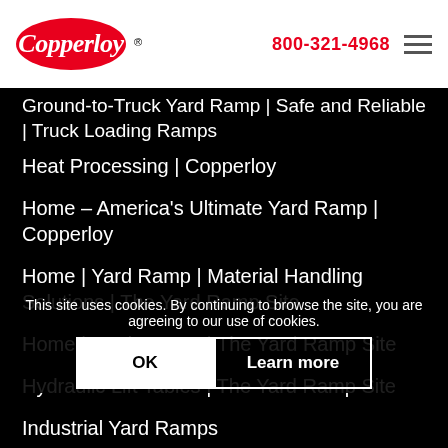[Figure (logo): Copperloy logo — red oval with white italic text 'Copperloy']
800-321-4968
Ground-to-Truck Yard Ramp | Safe and Reliable | Truck Loading Ramps
Heat Processing | Copperloy
Home – America's Ultimate Yard Ramp | Copperloy
Home | Yard Ramp | Material Handling Solutions | The Yard Ramp Site
Home | Yard Ramps | The Yard Ramp Site
Hydraulic Lift Tables | The Yard Ramp Site
Industrial Yard Ramps
Industrial Yard Ramps | New And Used Ramps | The Yard Ramp Site
Is Your Smaller Or Mid-sized Business In Need Of Used Yard Ramps?
Large Machine… | The Yard Ramp Site
Library | Copperloy
This site uses cookies. By continuing to browse the site, you are agreeing to our use of cookies.